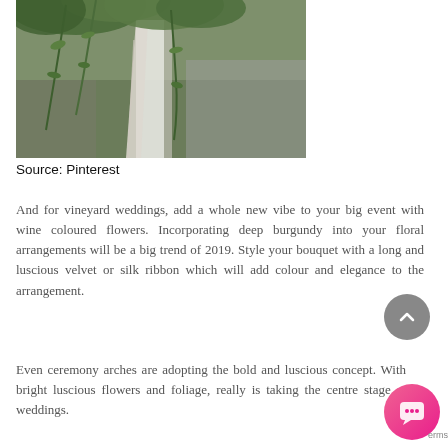[Figure (photo): Wedding arch decoration with cascading greenery and white fabric draping, photographed against a blurred outdoor background.]
Source: Pinterest
And for vineyard weddings, add a whole new vibe to your big event with wine coloured flowers. Incorporating deep burgundy into your floral arrangements will be a big trend of 2019. Style your bouquet with a long and luscious velvet or silk ribbon which will add colour and elegance to the arrangement.
Even ceremony arches are adopting the bold and luscious concept. With bright luscious flowers and foliage, really is taking the centre stage at weddings.